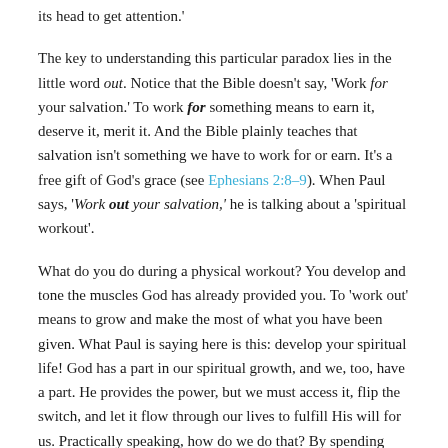its head to get attention.'
The key to understanding this particular paradox lies in the little word out. Notice that the Bible doesn't say, 'Work for your salvation.' To work for something means to earn it, deserve it, merit it. And the Bible plainly teaches that salvation isn't something we have to work for or earn. It's a free gift of God's grace (see Ephesians 2:8–9). When Paul says, 'Work out your salvation,' he is talking about a 'spiritual workout'.
What do you do during a physical workout? You develop and tone the muscles God has already provided you. To 'work out' means to grow and make the most of what you have been given. What Paul is saying here is this: develop your spiritual life! God has a part in our spiritual growth, and we, too, have a part. He provides the power, but we must access it, flip the switch, and let it flow through our lives to fulfill His will for us. Practically speaking, how do we do that? By spending time praying and reading God's Word each day. By sharpening and